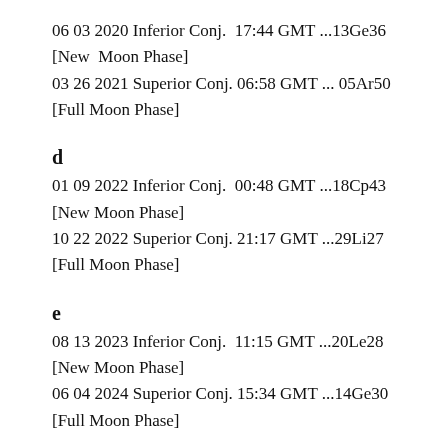06 03 2020 Inferior Conj.  17:44 GMT ...13Ge36
[New  Moon Phase]
03 26 2021 Superior Conj. 06:58 GMT ... 05Ar50
[Full Moon Phase]
d
01 09 2022 Inferior Conj.  00:48 GMT ...18Cp43
[New Moon Phase]
10 22 2022 Superior Conj. 21:17 GMT ...29Li27
[Full Moon Phase]
e
08 13 2023 Inferior Conj.  11:15 GMT ...20Le28
[New Moon Phase]
06 04 2024 Superior Conj. 15:34 GMT ...14Ge30
[Full Moon Phase]